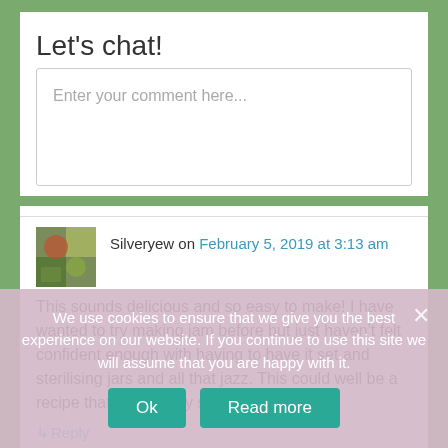Let's chat!
Enter your comment here...
Silveryew on February 5, 2019 at 3:13 am
This sounds delicious and so easy to make! I have wanted to try making jam before but just haven’t felt confident enough with having to have it set and sterilising jars and all that jazz. This could well be a recipe that’s within my skill level to try XD
↳ Reply
We use cookies to ensure that we give you the best experience on our website. If you continue to use this site we will assume that you are happy with it.